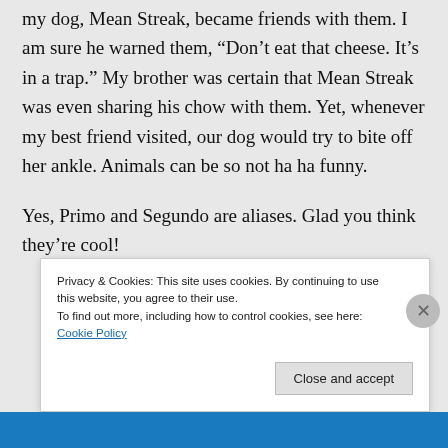my dog, Mean Streak, became friends with them. I am sure he warned them, “Don’t eat that cheese. It’s in a trap.” My brother was certain that Mean Streak was even sharing his chow with them. Yet, whenever my best friend visited, our dog would try to bite off her ankle. Animals can be so not ha ha funny.
Yes, Primo and Segundo are aliases. Glad you think they’re cool!
Privacy & Cookies: This site uses cookies. By continuing to use this website, you agree to their use.
To find out more, including how to control cookies, see here: Cookie Policy